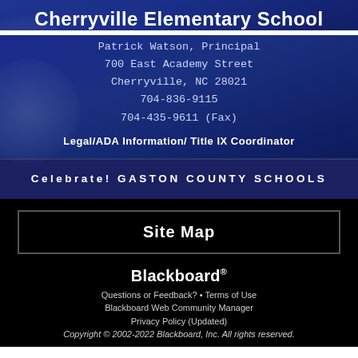Cherryville Elementary School
Patrick Watson, Principal
700 East Academy Street
Cherryville, NC 28021
704-836-9115
704-435-9611 (Fax)
Legal/ADA Information/ Title IX Coordinator
Celebrate! GASTON COUNTY SCHOOLS
Site Map
Blackboard®
Questions or Feedback? • Terms of Use
Blackboard Web Community Manager
Privacy Policy (Updated)
Copyright © 2002-2022 Blackboard, Inc. All rights reserved.